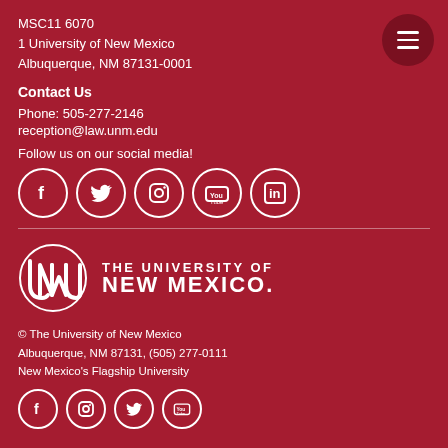MSC11 6070
1 University of New Mexico
Albuquerque, NM 87131-0001
Contact Us
Phone: 505-277-2146
reception@law.unm.edu
Follow us on our social media!
[Figure (infographic): Social media icons: Facebook, Twitter, Instagram, YouTube, LinkedIn — white circular icons on dark red background]
[Figure (logo): The University of New Mexico logo — UNM interlocking letters with THE UNIVERSITY OF NEW MEXICO wordmark in white]
© The University of New Mexico
Albuquerque, NM 87131, (505) 277-0111
New Mexico's Flagship University
[Figure (infographic): Social media icons: Facebook, Instagram, Twitter, YouTube — white circular icons]